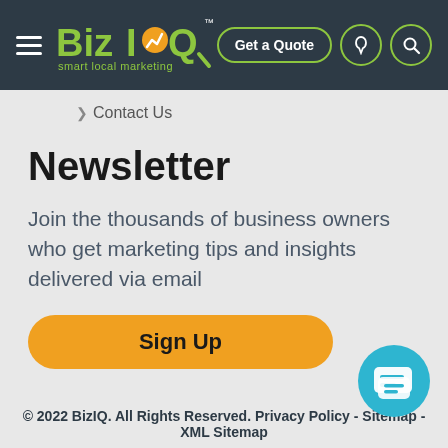[Figure (logo): BizIQ smart local marketing logo with navigation bar including hamburger menu, Get a Quote button, phone icon, and search icon on dark background]
❯ Contact Us
Newsletter
Join the thousands of business owners who get marketing tips and insights delivered via email
Sign Up
© 2022 BizIQ. All Rights Reserved. Privacy Policy - Sitemap - XML Sitemap